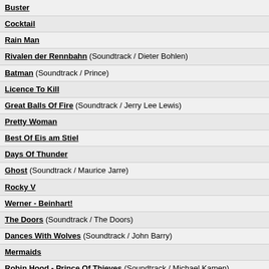Buster
Cocktail
Rain Man
Rivalen der Rennbahn (Soundtrack / Dieter Bohlen)
Batman (Soundtrack / Prince)
Licence To Kill
Great Balls Of Fire (Soundtrack / Jerry Lee Lewis)
Pretty Woman
Best Of Eis am Stiel
Days Of Thunder
Ghost (Soundtrack / Maurice Jarre)
Rocky V
Werner - Beinhart!
The Doors (Soundtrack / The Doors)
Dances With Wolves (Soundtrack / John Barry)
Mermaids
Robin Hood - Prince Of Thieves (Soundtrack / Michael Kamen)
Bis ans Ende der Welt
Twin Peaks (Soundtrack / Angelo Badalamenti)
The Commitments (Soundtrack / The Commitments)
For The Boys (Soundtrack / Bette Midler)
My Girl
The Commitments Vol. 2 (Soundtrack / The Commitments)
The Bodyguard (Soundtrack / Whitney Houston)
Sister Act (Soundtrack / Marc Shaiman)
Beverly Hills 90210